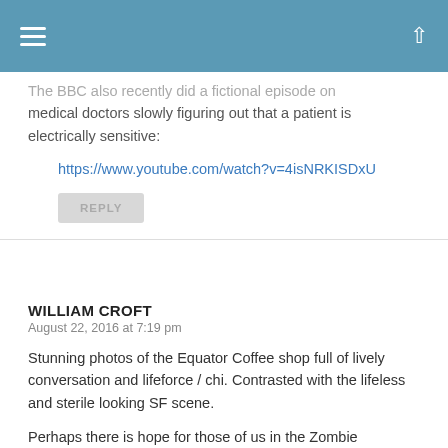Navigation bar with hamburger menu and up arrow
The BBC also recently did a fictional episode on medical doctors slowly figuring out that a patient is electrically sensitive:
https://www.youtube.com/watch?v=4isNRKISDxU
REPLY
WILLIAM CROFT
August 22, 2016 at 7:19 pm
Stunning photos of the Equator Coffee shop full of lively conversation and lifeforce / chi. Contrasted with the lifeless and sterile looking SF scene.
Perhaps there is hope for those of us in the Zombie Apocalypse. 😉
REPLY